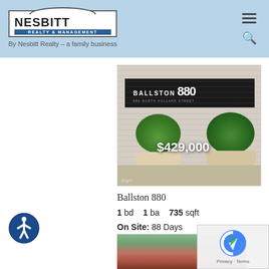Nesbitt Realty & Management — By Nesbitt Realty – a family business
[Figure (photo): Exterior photo of Ballston 880 building entrance with large potted bushes and price overlay showing $429,000]
Ballston 880
1 bd   1 ba   735 sqft
On Site: 88 Days
Courtesy of Long & Foster Real Estate Inc.
[Figure (photo): Partial view of another property listing photo at bottom of page]